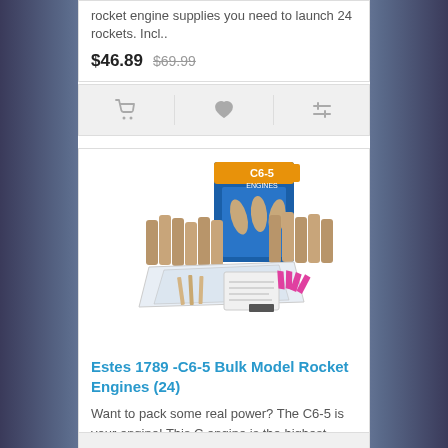rocket engine supplies you need to launch 24 rockets. Incl..
$46.89  $69.99
[Figure (screenshot): Shopping cart, heart/wishlist, and compare icons action bar]
[Figure (photo): Estes C6-5 Bulk Model Rocket Engines product photo showing box and engine contents]
Estes 1789 -C6-5 Bulk Model Rocket Engines (24)
Want to pack some real power? The C6-5 is your engine! This C engine is the highest impulse engine i..
$66.99  $99.99